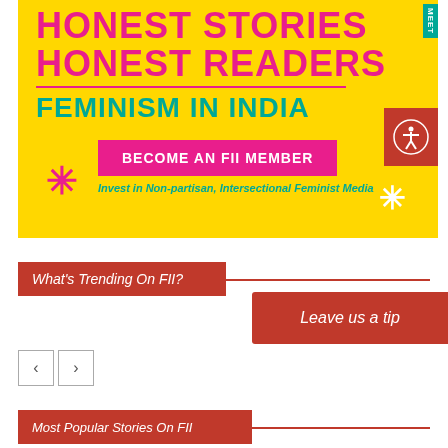[Figure (illustration): Yellow banner with pink bold text 'HONEST STORIES HONEST READERS', teal text 'FEMINISM IN INDIA', pink button 'BECOME AN FII MEMBER', teal tagline 'Invest in Non-partisan, Intersectional Feminist Media', pink asterisk flower and white snowflake decorations.]
What's Trending On FII?
Leave us a tip
Most Popular Stories On FII